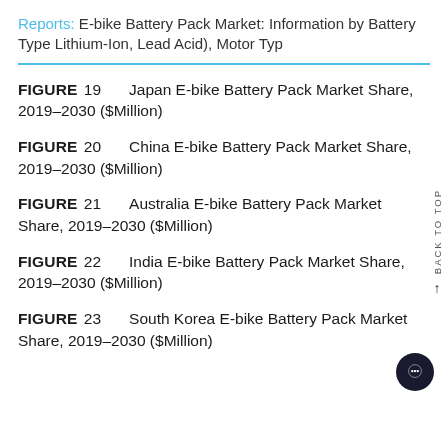Reports: E-bike Battery Pack Market: Information by Battery Type Lithium-Ion, Lead Acid), Motor Typ
FIGURE 19    Japan E-bike Battery Pack Market Share, 2019–2030 ($Million)
FIGURE 20    China E-bike Battery Pack Market Share, 2019–2030 ($Million)
FIGURE 21    Australia E-bike Battery Pack Market Share, 2019–2030 ($Million)
FIGURE 22    India E-bike Battery Pack Market Share, 2019–2030 ($Million)
FIGURE 23    South Korea E-bike Battery Pack Market Share, 2019–2030 ($Million)